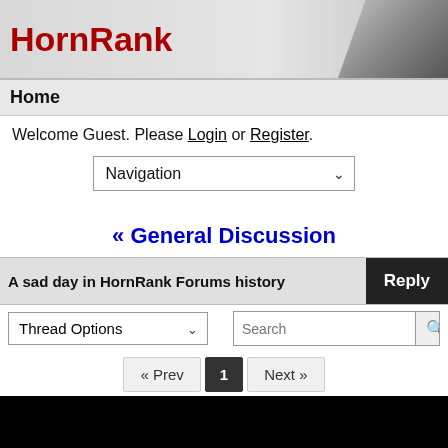HornRank
Home
Welcome Guest. Please Login or Register.
Navigation
« General Discussion
A sad day in HornRank Forums history
Thread Options
« Prev  1  Next »
hewhowaits
Moderator
★★★★★★★★★
Jun 9, 2020 at 11:31am